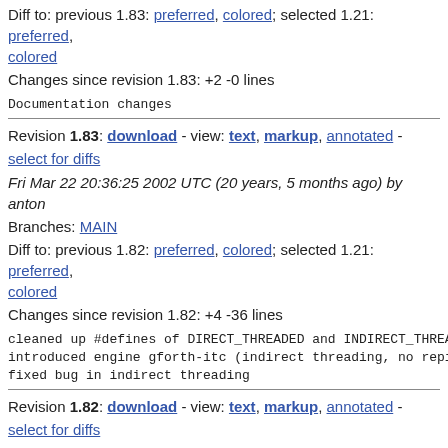Diff to: previous 1.83: preferred, colored; selected 1.21: preferred, colored
Changes since revision 1.83: +2 -0 lines
Documentation changes
Revision 1.83: download - view: text, markup, annotated - select for diffs
Fri Mar 22 20:36:25 2002 UTC (20 years, 5 months ago) by anton
Branches: MAIN
Diff to: previous 1.82: preferred, colored; selected 1.21: preferred, colored
Changes since revision 1.82: +4 -36 lines
cleaned up #defines of DIRECT_THREADED and INDIRECT_THREA
introduced engine gforth-itc (indirect threading, no repi
fixed bug in indirect threading
Revision 1.82: download - view: text, markup, annotated - select for diffs
Wed Mar 13 16:59:12 2002 UTC (20 years, 5 months ago) by anton
Branches: MAIN
Diff to: previous 1.81: preferred, colored; selected 1.21: preferred, colored
Changes since revision 1.81: +4 -11 lines